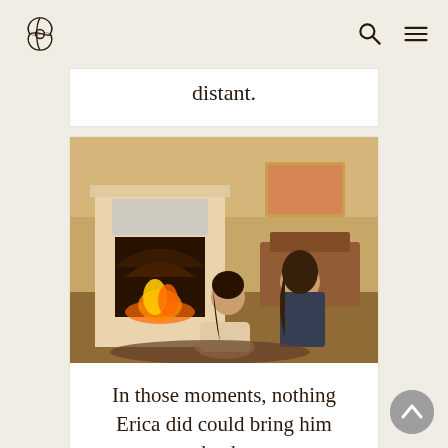[Logo] [Search icon] [Menu icon]
distant.
[Figure (photo): Two women in a warmly lit living room with a fireplace; one sits on the floor while the other leans toward her from a chair.]
In those moments, nothing Erica did could bring him back.
[Figure (photo): Two women sitting together in a warmly lit living room with a fireplace in the background.]
Her heart was